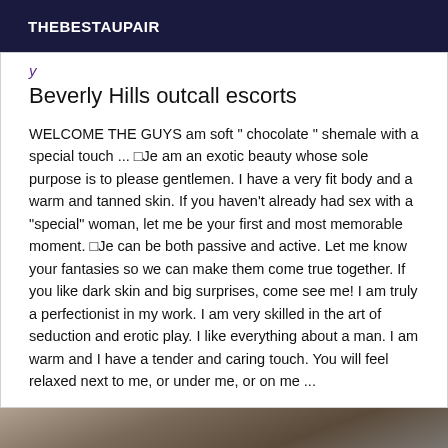THEBESTAUPAIR
Beverly Hills outcall escorts
WELCOME THE GUYS am soft " chocolate " shemale with a special touch ... □Je am an exotic beauty whose sole purpose is to please gentlemen. I have a very fit body and a warm and tanned skin. If you haven't already had sex with a "special" woman, let me be your first and most memorable moment. □Je can be both passive and active. Let me know your fantasies so we can make them come true together. If you like dark skin and big surprises, come see me! I am truly a perfectionist in my work. I am very skilled in the art of seduction and erotic play. I like everything about a man. I am warm and I have a tender and caring touch. You will feel relaxed next to me, or under me, or on me ...
[Figure (photo): Partial photo of a person, cropped at bottom of page]